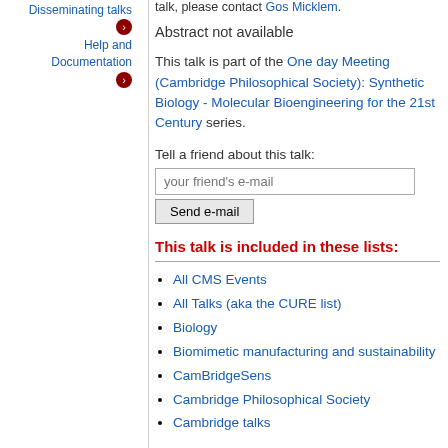Disseminating talks
Help and Documentation
talk, please contact Gos Micklem.
Abstract not available
This talk is part of the One day Meeting (Cambridge Philosophical Society): Synthetic Biology - Molecular Bioengineering for the 21st Century series.
Tell a friend about this talk:
This talk is included in these lists:
All CMS Events
All Talks (aka the CURE list)
Biology
Biomimetic manufacturing and sustainability
CamBridgeSens
Cambridge Philosophical Society
Cambridge talks